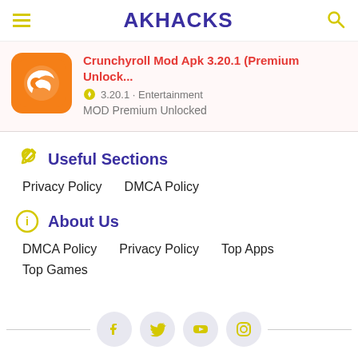AKHACKS
Crunchyroll Mod Apk 3.20.1 (Premium Unlock...) · 3.20.1 · Entertainment · MOD Premium Unlocked
Useful Sections
Privacy Policy
DMCA Policy
About Us
DMCA Policy
Privacy Policy
Top Apps
Top Games
Facebook · Twitter · YouTube · Instagram